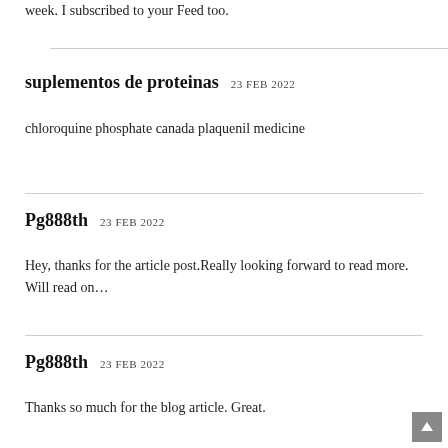week. I subscribed to your Feed too.
suplementos de proteinas 23 FEB 2022
chloroquine phosphate canada plaquenil medicine
Pg888th 23 FEB 2022
Hey, thanks for the article post.Really looking forward to read more. Will read on…
Pg888th 23 FEB 2022
Thanks so much for the blog article. Great.